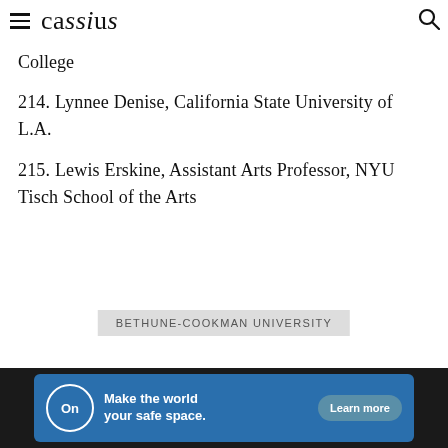cassius
College
214. Lynnee Denise, California State University of L.A.
215. Lewis Erskine, Assistant Arts Professor, NYU Tisch School of the Arts
BETHUNE-COOKMAN UNIVERSITY
[Figure (other): Advertisement banner: Make the world your safe space. Learn more]